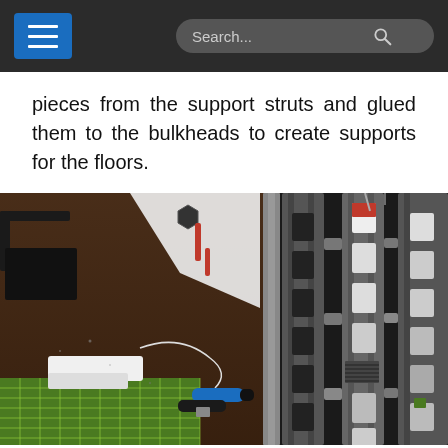Navigation menu and search bar
pieces from the support struts and glued them to the bulkheads to create supports for the floors.
[Figure (photo): Left photo: a crafting workspace with a dark wooden surface, a green cutting mat, white rectangular foam/card pieces, a blue marker, loose wire, and various hobby tools and materials. Right photo: close-up of grey plastic bulkhead/strut model kit pieces with rectangular cutouts stacked vertically, showing red and white details.]